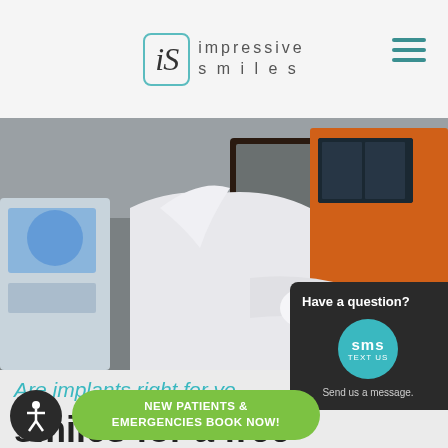iS impressive smiles
[Figure (photo): Dental professional in white coat working at a dental milling machine/CAD-CAM device in a modern dental office with equipment visible including an orange machine on the right]
Have a question?
sms TEXT US
Send us a message.
Are implants right for yo...
NEW PATIENTS & EMERGENCIES BOOK NOW!
sive smiles for a free